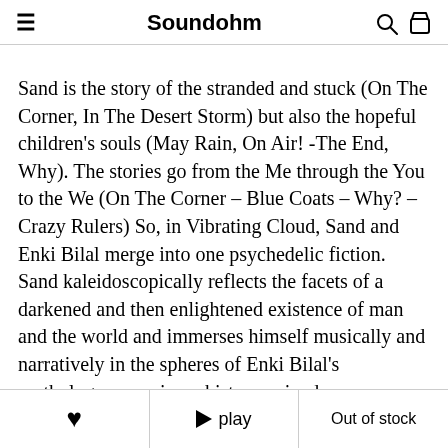Soundohm
Sand is the story of the stranded and stuck (On The Corner, In The Desert Storm) but also the hopeful children’s souls (May Rain, On Air! -The End, Why). The stories go from the Me through the You to the We (On The Corner – Blue Coats – Why? – Crazy Rulers) So, in Vibrating Cloud, Sand and Enki Bilal merge into one psychedelic fiction. Sand kaleidoscopically reflects the facets of a darkened and then enlightened existence of man and the world and immerses himself musically and narratively in the spheres of Enki Bilal’s mythology, conspiracy history, mixed-up
♥  ► play  Out of stock